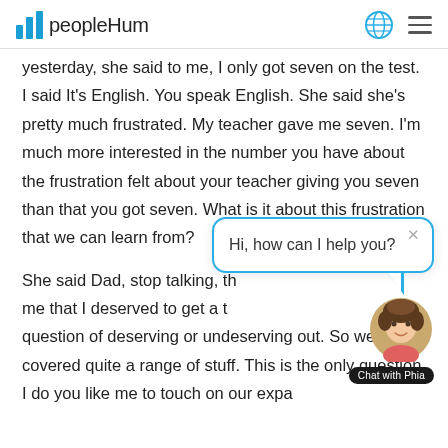peopleHum
yesterday, she said to me, I only got seven on the test. I said It's English. You speak English. She said she's pretty much frustrated. My teacher gave me seven. I'm much more interested in the number you have about the frustration felt about your teacher giving you seven than that you got seven. What is it about this frustration that we can learn from?
She said Dad, stop talking, th... me that I deserved to get a t... question of deserving or undeserving out. So we've covered quite a range of stuff. This is the only question I do you like me to touch on our expa...
[Figure (screenshot): Chat widget popup saying 'Hi, how can I help you?' with a close X button, and a chat avatar labeled 'Chat with Phia']